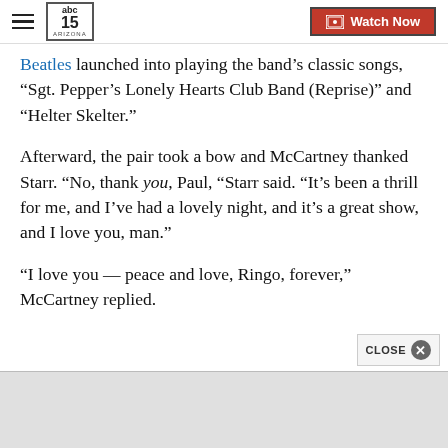abc15 ARIZONA — Watch Now
Beatles launched into playing the band's classic songs, “Sgt. Pepper’s Lonely Hearts Club Band (Reprise)” and “Helter Skelter.”
Afterward, the pair took a bow and McCartney thanked Starr. “No, thank you, Paul, “Starr said. “It’s been a thrill for me, and I’ve had a lovely night, and it’s a great show, and I love you, man.”
“I love you — peace and love, Ringo, forever,” McCartney replied.